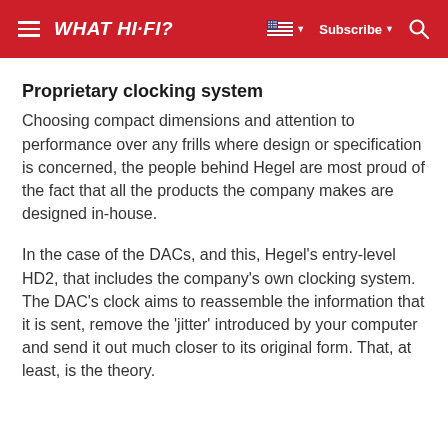WHAT HI-FI? | Subscribe
Proprietary clocking system
Choosing compact dimensions and attention to performance over any frills where design or specification is concerned, the people behind Hegel are most proud of the fact that all the products the company makes are designed in-house.
In the case of the DACs, and this, Hegel's entry-level HD2, that includes the company's own clocking system. The DAC's clock aims to reassemble the information that it is sent, remove the 'jitter' introduced by your computer and send it out much closer to its original form. That, at least, is the theory.